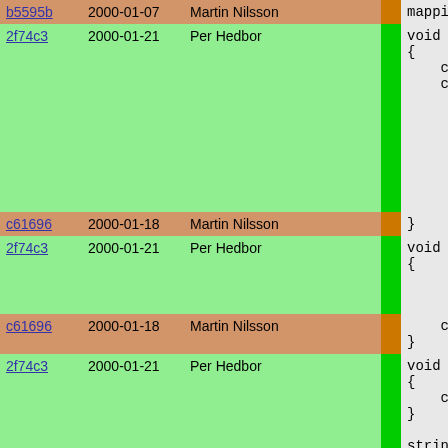| hash | date | author | bar | code |
| --- | --- | --- | --- | --- |
| b5595b | 2000-01-07 | Martin Nilsson |  | mapping co |
| 2f74c3 | 2000-01-21 | Per Hedbor |  | void add_p
{
    configur
    configur |
| c61696 | 2000-01-18 | Martin Nilsson |  | } |
| 2f74c3 | 2000-01-21 | Per Hedbor |  | void remov
{ |
| c61696 | 2000-01-18 | Martin Nilsson |  |     configur
} |
| 2f74c3 | 2000-01-21 | Per Hedbor |  | void add_c
{
    configur
}

string con
{
  if(!id->
    return |
| c61696 | 2000-01-18 | Martin Nilsson |  | array au
RoxenMod |
| 2f74c3 | 2000-01-21 | Per Hedbor |  | foreach |